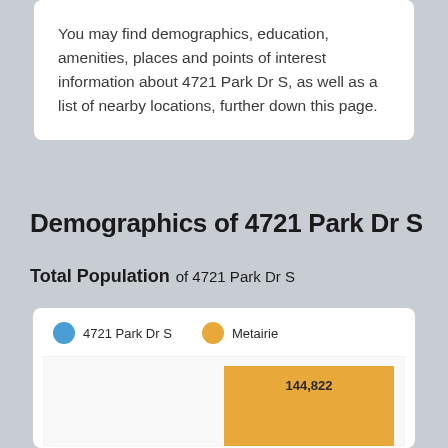You may find demographics, education, amenities, places and points of interest information about 4721 Park Dr S, as well as a list of nearby locations, further down this page.
Demographics of 4721 Park Dr S
Total Population of 4721 Park Dr S
[Figure (bar-chart): Total Population of 4721 Park Dr S]